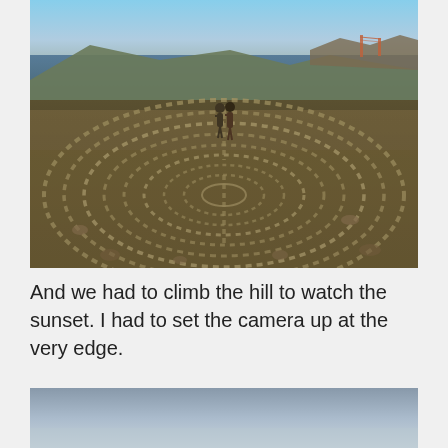[Figure (photo): Aerial-like view of a large stone labyrinth on rocky coastal terrain near the water. Two people stand at the center. The Golden Gate Bridge and hills are visible in the background across the bay. Warm sunset light.]
And we had to climb the hill to watch the sunset. I had to set the camera up at the very edge.
[Figure (photo): Partial view of a sunset or hazy sky over a body of water, showing gradient from blue-gray sky to lighter horizon.]